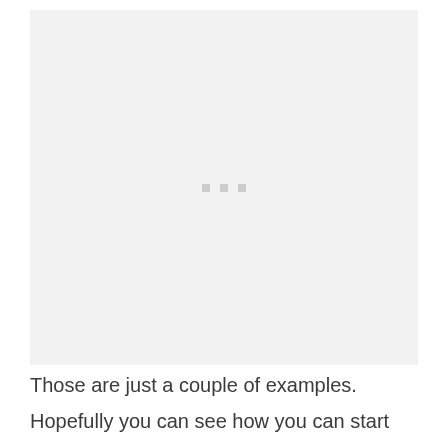[Figure (other): Large light gray placeholder image area with three small gray square dots centered near the vertical midpoint]
Those are just a couple of examples.
Hopefully you can see how you can start